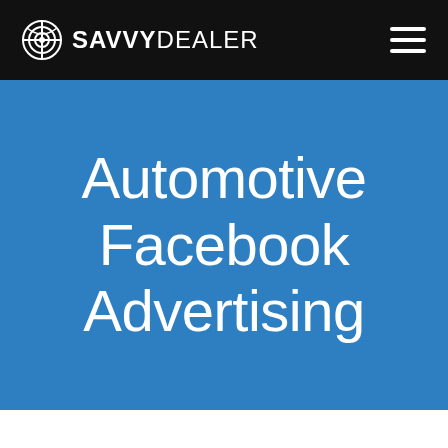SAVVYDEALER
Automotive Facebook Advertising